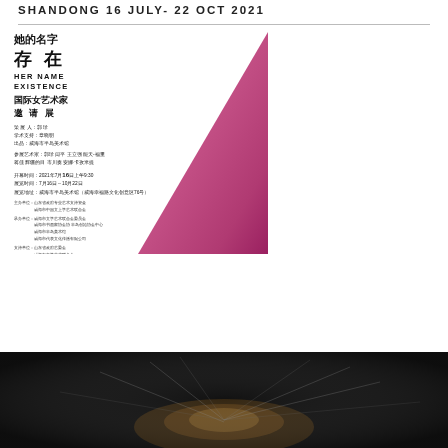SHANDONG 16 JULY- 22 OCT 2021
[Figure (illustration): Exhibition poster for 'Her Name Existence' international female artists invitational exhibition. Features a pink/magenta triangular gradient shape on the right side, with Chinese and English text including exhibition title, artists, dates, and venue information.]
[Figure (photo): Dark photograph showing what appears to be a sculptural or organic form with wire/line elements against a black background.]